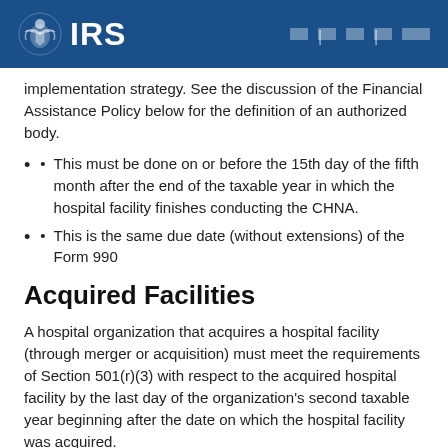IRS
implementation strategy. See the discussion of the Financial Assistance Policy below for the definition of an authorized body.
This must be done on or before the 15th day of the fifth month after the end of the taxable year in which the hospital facility finishes conducting the CHNA.
This is the same due date (without extensions) of the Form 990
Acquired Facilities
A hospital organization that acquires a hospital facility (through merger or acquisition) must meet the requirements of Section 501(r)(3) with respect to the acquired hospital facility by the last day of the organization's second taxable year beginning after the date on which the hospital facility was acquired.
In the case of a merger that results in the liquidation of one organization and survival of another, the hospital facilities